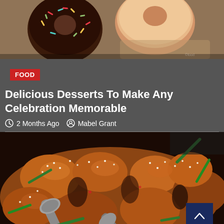[Figure (photo): Photo of chocolate frosted donut with sprinkles and plain glazed donuts in background]
FOOD
Delicious Desserts To Make Any Celebration Memorable
2 Months Ago  Mabel Grant
[Figure (photo): Close-up photo of glazed sesame chicken pieces with green onions, being served with a spoon, and a scroll-to-top button in the bottom right corner]